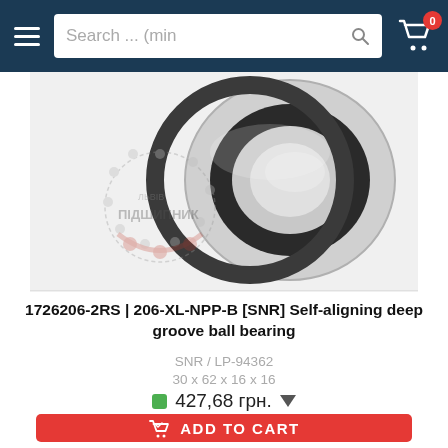Search ... (min  [cart icon] 0
[Figure (photo): A self-aligning deep groove ball bearing (SNR brand) shown from an angle, with a watermark logo of Lviv Pidshypnyk (bearing shop) overlaid on the image. The bearing has a dark rubber seal on one side and metallic ring visible.]
1726206-2RS | 206-XL-NPP-B [SNR] Self-aligning deep groove ball bearing
SNR / LP-94362
30 x 62 x 16 x 16
427,68 грн.
ADD TO CART